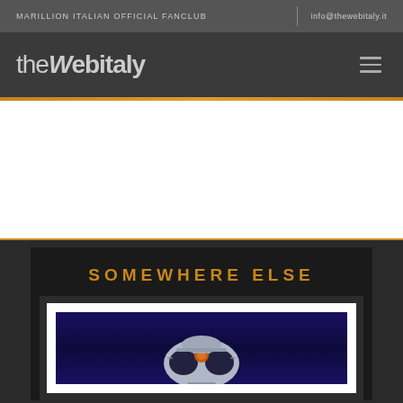MARILLION ITALIAN OFFICIAL FANCLUB | info@thewebitaly.it
[Figure (logo): theWebitaly logo in white/grey text on dark background with hamburger menu icon]
[Figure (illustration): White area advertisement/banner space with orange accent lines top and bottom]
SOMEWHERE ELSE
[Figure (photo): Album cover image showing a metallic robot/mask figure with orange gem center against deep blue/purple background, displayed in a nested white and dark frame]